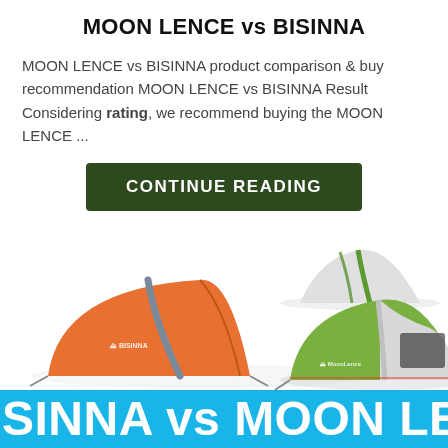MOON LENCE vs BISINNA
MOON LENCE vs BISINNA product comparison & buy recommendation MOON LENCE vs BISINNA Result Considering rating, we recommend buying the MOON LENCE ...
[Figure (other): Button with dark green background and white uppercase text reading CONTINUE READING]
[Figure (photo): Product comparison photo showing an orange BISINNA tent on the left and green/white MOON LENCE tents on the right]
SINNA vs MOON LE